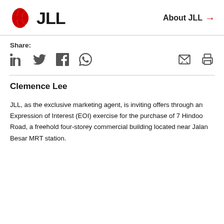JLL | About JLL →
Share:
Clemence Lee
JLL, as the exclusive marketing agent, is inviting offers through an Expression of Interest (EOI) exercise for the purchase of 7 Hindoo Road, a freehold four-storey commercial building located near Jalan Besar MRT station.